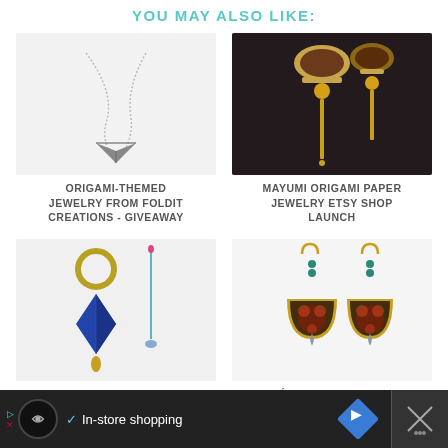YOU MAY ALSO LIKE:
[Figure (photo): Photo of origami-themed necklace with paper airplane pendant on silver chain, light gray background]
ORIGAMI-THEMED JEWELRY FROM FOLDIT CREATIONS - GIVEAWAY
[Figure (photo): Photo of Mayumi origami paper jewelry earrings with colorful fabric beads and gold pin drops]
MAYUMI ORIGAMI PAPER JEWELRY ETSY SHOP LAUNCH
[Figure (photo): Photo of blue origami-style diamond-shaped bead earrings with gold circle and bead drops, teal pin earring in background]
MAYUMI ORIGAMI JEWELRY
[Figure (photo): Photo of Cleo's origami paper jewelry half-moon shaped earrings with floral pattern in gold frame with teal beads and teardrop charm]
CLÉO'S ORIGAMI PAPER JEWELRY - WORLDWIDE GIVEAWAY
In-store shopping — Advertisement bar with navigation icons